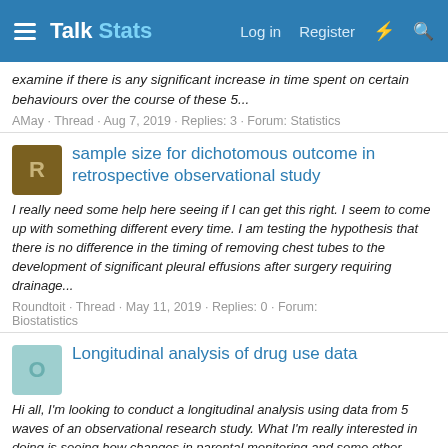Talk Stats — Log in | Register
examine if there is any significant increase in time spent on certain behaviours over the course of these 5...
AMay · Thread · Aug 7, 2019 · Replies: 3 · Forum: Statistics
sample size for dichotomous outcome in retrospective observational study
I really need some help here seeing if I can get this right. I seem to come up with something different every time. I am testing the hypothesis that there is no difference in the timing of removing chest tubes to the development of significant pleural effusions after surgery requiring drainage...
Roundtoit · Thread · May 11, 2019 · Replies: 0 · Forum: Biostatistics
Longitudinal analysis of drug use data
Hi all, I'm looking to conduct a longitudinal analysis using data from 5 waves of an observational research study. What I'm really interested in doing is seeing how changes in parental monitoring and some other family factors (i.e., cohesion, etc.) impact drug use and negative consequences of...